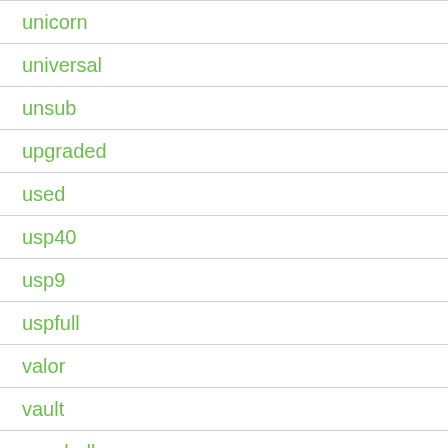unicorn
universal
unsub
upgraded
used
usp40
usp9
uspfull
valor
vault
vauxhall
vega
velc